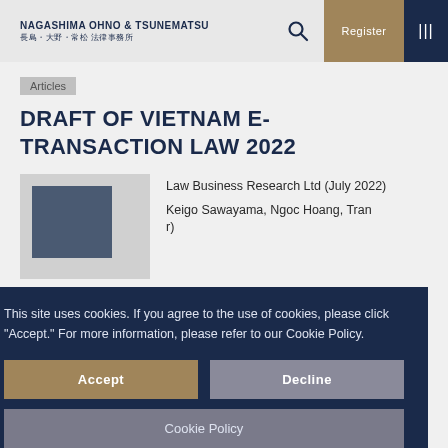NAGASHIMA OHNO & TSUNEMATSU 長島・大野・常松 法律事務所
Articles
DRAFT OF VIETNAM E-TRANSACTION LAW 2022
Law Business Research Ltd (July 2022)
Keigo Sawayama, Ngoc Hoang, Tran
[Figure (photo): Book or publication cover image, dark blue/navy colored]
This site uses cookies. If you agree to the use of cookies, please click "Accept." For more information, please refer to our Cookie Policy.
Accept
Decline
Cookie Policy